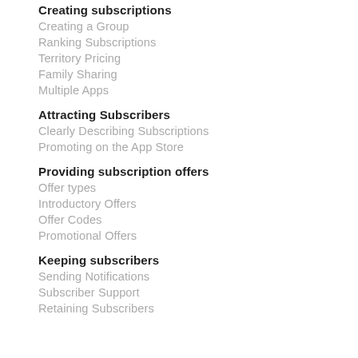Creating subscriptions
Creating a Group
Ranking Subscriptions
Territory Pricing
Family Sharing
Multiple Apps
Attracting Subscribers
Clearly Describing Subscriptions
Promoting on the App Store
Providing subscription offers
Offer types
Introductory Offers
Offer Codes
Promotional Offers
Keeping subscribers
Sending Notifications
Subscriber Support
Retaining Subscribers